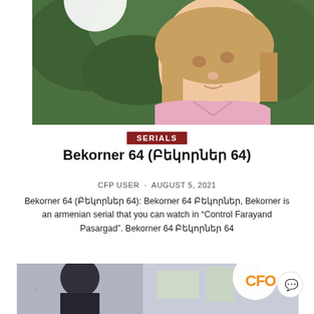[Figure (photo): Woman with blonde hair wearing pink shirt, outdoors with green foliage background]
SERIALS
Bekorner 64 (Բեկորներ 64)
CFP USER · AUGUST 5, 2021
Bekorner 64 (Բեկորներ 64): Bekorner 64 Բեկորներ, Bekorner is an armenian serial that you can watch in "Control Farayand Pasargad". Bekorner 64 Բեկորներ 64
[Figure (photo): Person in dark clothing, indoor scene with CFP logo overlay]